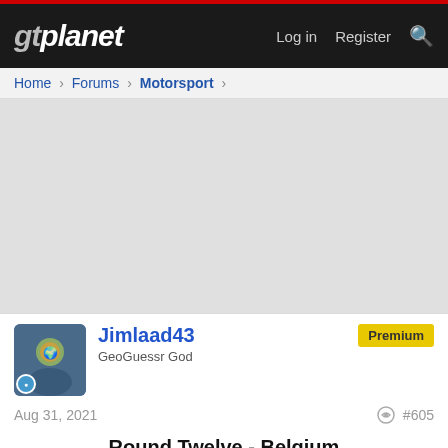gtplanet  Log in  Register
Home > Forums > Motorsport >
[Figure (other): Advertisement placeholder area (gray rectangle)]
Jimlaad43  GeoGuessr God  Premium
Aug 31, 2021  #605
Round Twelve - Belgium
[Figure (illustration): Belgian flag (black, yellow, red vertical stripes)]